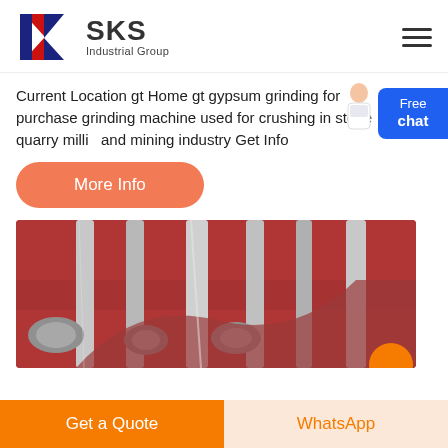[Figure (logo): SKS Industrial Group logo with red and blue K shape and bold SKS text]
Current Location gt Home gt gypsum grinding for purchase grinding machine used for crushing in stone quarry milling and mining industry Get Info
[Figure (illustration): Free chat button with a person illustration on the right side]
[Figure (photo): Close-up photo of industrial grinding machine parts showing metal rollers and red-painted surfaces]
Get a Quote | WhatsApp